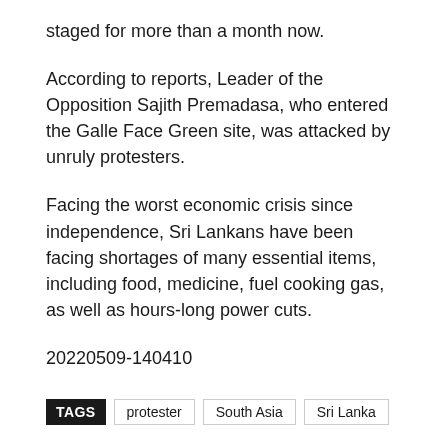staged for more than a month now.
According to reports, Leader of the Opposition Sajith Premadasa, who entered the Galle Face Green site, was attacked by unruly protesters.
Facing the worst economic crisis since independence, Sri Lankans have been facing shortages of many essential items, including food, medicine, fuel cooking gas, as well as hours-long power cuts.
20220509-140410
TAGS  protester  South Asia  Sri Lanka